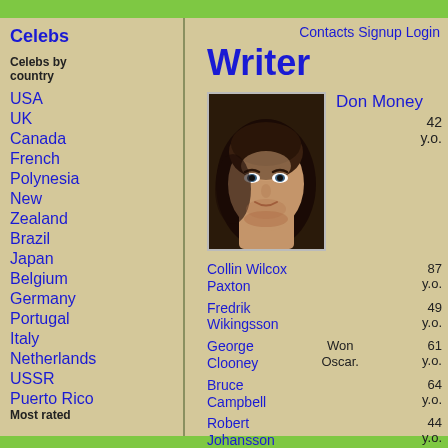Celebs | Contacts Signup Login
Celebs
Celebs by country
USA
UK
Canada
French Polynesia
New Zealand
Brazil
Japan
Belgium
Germany
Portugal
Italy
Netherlands
USSR
Puerto Rico
Most rated
Writer
[Figure (photo): Portrait photo of Don Money, a young man with dark hair]
Don Money 42 y.o.
Collin Wilcox Paxton 87 y.o.
Fredrik Wikingsson 49 y.o.
George Clooney Won Oscar. 61 y.o.
Bruce Campbell 64 y.o.
Robert Johansson 44 y.o.